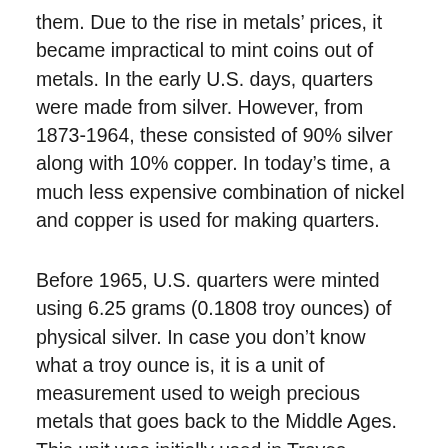them. Due to the rise in metals' prices, it became impractical to mint coins out of metals. In the early U.S. days, quarters were made from silver. However, from 1873-1964, these consisted of 90% silver along with 10% copper. In today's time, a much less expensive combination of nickel and copper is used for making quarters.
Before 1965, U.S. quarters were minted using 6.25 grams (0.1808 troy ounces) of physical silver. In case you don't know what a troy ounce is, it is a unit of measurement used to weigh precious metals that goes back to the Middle Ages. This unit was initially used in Troyes, France. AS per the United Kingdom Royal Mint, 1 troy ounce is equivalent to 31.1034768 grams. Standard ounces were used for measuring other items like grain and sugar; 1 standard ounce was equal to a little less than 28.35 grams. As per